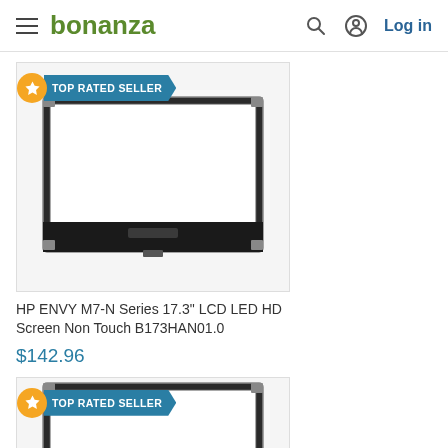bonanza — Log in
[Figure (screenshot): TOP RATED SELLER badge with orange star and teal ribbon label]
[Figure (photo): HP laptop LCD screen panel, 17.3 inch, black frame, white display area, viewed from front]
HP ENVY M7-N Series 17.3" LCD LED HD Screen Non Touch B173HAN01.0
$142.96
[Figure (screenshot): TOP RATED SELLER badge with orange star and teal ribbon label]
[Figure (photo): Partially visible HP laptop LCD screen panel, similar to above]